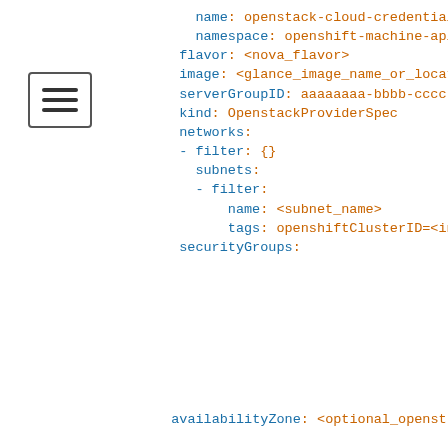[Figure (screenshot): Code editor showing YAML configuration for OpenStack provider spec with fields: name, namespace, flavor, image, serverGroupID, kind, networks with filter and subnets, securityGroups, and availabilityZone. A cookie consent popup overlays the lower portion of the page.]
How we use cookies
We use cookies on our websites to deliver our online services. Details about how we use cookies and how you may disable them are set out in our Privacy Statement. By using this website you agree to our use of cookies.